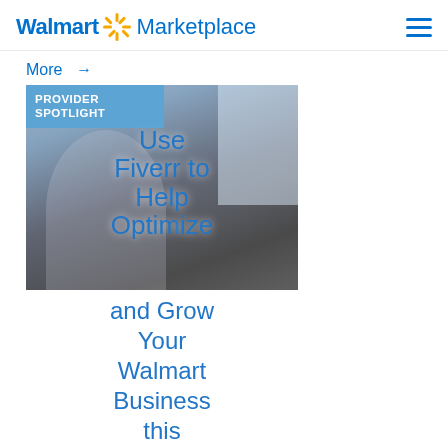Walmart Marketplace
More →
[Figure (screenshot): Walmart Marketplace blog card showing a man working at a desk with laptop. Blue badge reads PROVIDER SPOTLIGHT. Blue text overlay reads: Use Fiverr to Help Optimize and Grow Your Walmart Business this Holiday Season]
Managing every